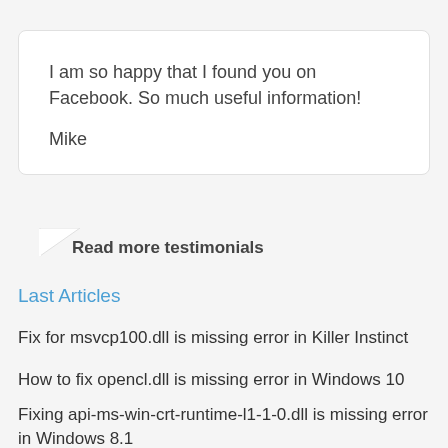I am so happy that I found you on Facebook. So much useful information!

Mike
Read more testimonials
Last Articles
Fix for msvcp100.dll is missing error in Killer Instinct
How to fix opencl.dll is missing error in Windows 10
Fixing api-ms-win-crt-runtime-l1-1-0.dll is missing error in Windows 8.1